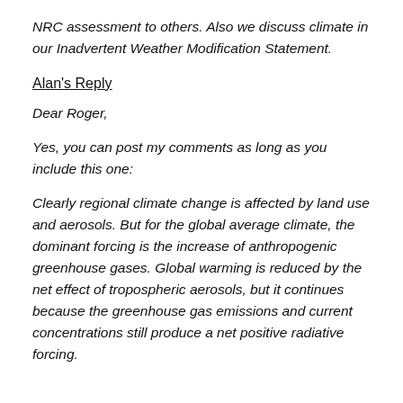NRC assessment to others. Also we discuss climate in our Inadvertent Weather Modification Statement.
Alan's Reply
Dear Roger,
Yes, you can post my comments as long as you include this one:
Clearly regional climate change is affected by land use and aerosols. But for the global average climate, the dominant forcing is the increase of anthropogenic greenhouse gases. Global warming is reduced by the net effect of tropospheric aerosols, but it continues because the greenhouse gas emissions and current concentrations still produce a net positive radiative forcing.